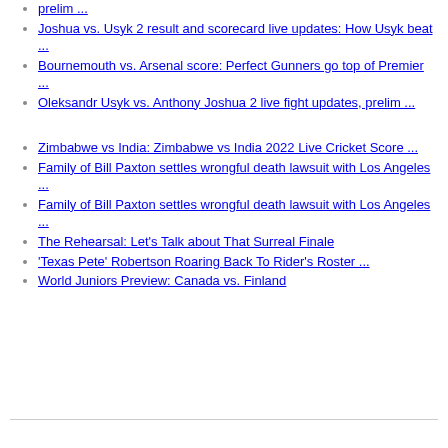prelim ...
Joshua vs. Usyk 2 result and scorecard live updates: How Usyk beat ...
Bournemouth vs. Arsenal score: Perfect Gunners go top of Premier ...
Oleksandr Usyk vs. Anthony Joshua 2 live fight updates, prelim ...
Zimbabwe vs India: Zimbabwe vs India 2022 Live Cricket Score ...
Family of Bill Paxton settles wrongful death lawsuit with Los Angeles ...
Family of Bill Paxton settles wrongful death lawsuit with Los Angeles ...
The Rehearsal: Let's Talk about That Surreal Finale
'Texas Pete' Robertson Roaring Back To Rider's Roster ...
World Juniors Preview: Canada vs. Finland